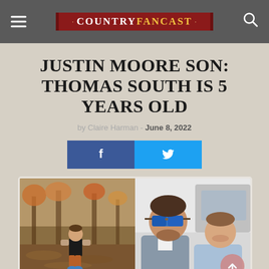COUNTRYFANCAST
JUSTIN MOORE SON: THOMAS SOUTH IS 5 YEARS OLD
by Claire Harman - June 8, 2022
[Figure (screenshot): Two social share buttons: Facebook (blue) and Twitter (light blue)]
[Figure (photo): Left: Young toddler boy standing outdoors in fall leaves wearing a dark vest, long-sleeve shirt and rust-colored pants with blue boots. Right: Man (Justin Moore) in sunglasses and blazer smiling with a young boy in a light blue polo shirt.]